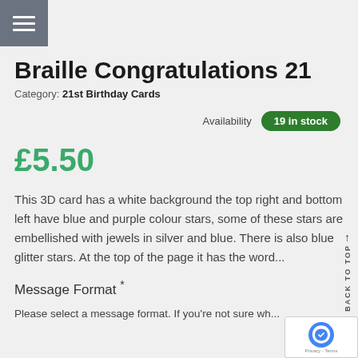Braille Congratulations 21
Category: 21st Birthday Cards
Availability  19 in stock
£5.50
This 3D card has a white background the top right and bottom left have blue and purple colour stars, some of these stars are embellished with jewels in silver and blue. There is also blue glitter stars. At the top of the page it has the word...
Message Format *
Please select a message format. If you're not sure wh... of Braille to choose please contact this...